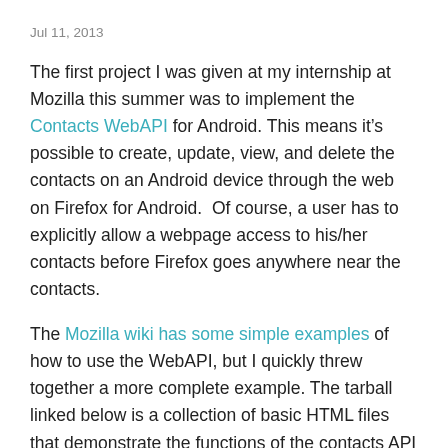Jul 11, 2013
The first project I was given at my internship at Mozilla this summer was to implement the Contacts WebAPI for Android. This means it's possible to create, update, view, and delete the contacts on an Android device through the web on Firefox for Android.  Of course, a user has to explicitly allow a webpage access to his/her contacts before Firefox goes anywhere near the contacts.
The Mozilla wiki has some simple examples of how to use the WebAPI, but I quickly threw together a more complete example. The tarball linked below is a collection of basic HTML files that demonstrate the functions of the contacts API in a hopefully straightforward way. Not all of the possible contact fields are present for the sake of page size (and my time), but the others, as documented on the Mozilla wiki, are trivial to implement.